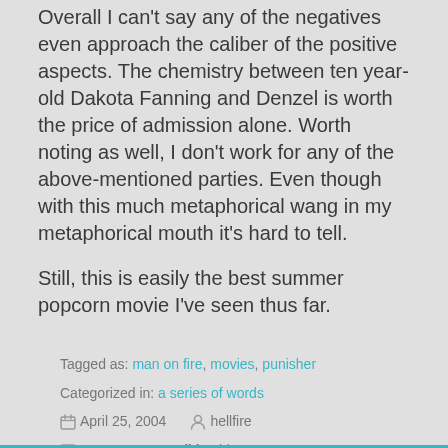Overall I can't say any of the negatives even approach the caliber of the positive aspects. The chemistry between ten year-old Dakota Fanning and Denzel is worth the price of admission alone. Worth noting as well, I don't work for any of the above-mentioned parties. Even though with this much metaphorical wang in my metaphorical mouth it's hard to tell.
Still, this is easily the best summer popcorn movie I've seen thus far.
Tagged as: man on fire, movies, punisher
Categorized in: a series of words
April 25, 2004   hellfire
Comments are off for this post.